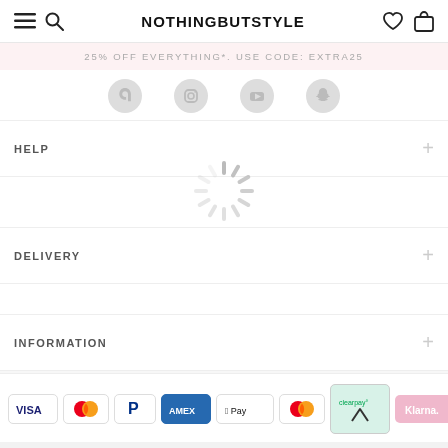NOTHINGBUTSTYLE
25% OFF EVERYTHING*. USE CODE: EXTRA25
[Figure (other): Social media icons row: TikTok, Instagram, YouTube, Snapchat]
HELP
[Figure (other): Loading spinner (circular animated loader icon)]
DELIVERY
INFORMATION
[Figure (other): Payment method logos: VISA, Mastercard, PayPal, AMEX, Apple Pay, Mastercard (second), Clearpay, Klarna]
Nothingbutstyle uses cookies. Read more here